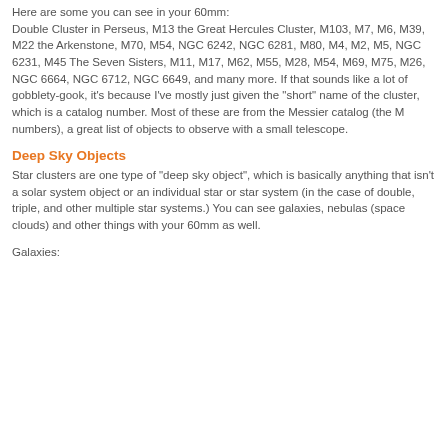Here are some you can see in your 60mm: Double Cluster in Perseus, M13 the Great Hercules Cluster, M103, M7, M6, M39, M22 the Arkenstone, M70, M54, NGC 6242, NGC 6281, M80, M4, M2, M5, NGC 6231, M45 The Seven Sisters, M11, M17, M62, M55, M28, M54, M69, M75, M26, NGC 6664, NGC 6712, NGC 6649, and many more. If that sounds like a lot of gobblety-gook, it's because I've mostly just given the "short" name of the cluster, which is a catalog number. Most of these are from the Messier catalog (the M numbers), a great list of objects to observe with a small telescope.
Deep Sky Objects
Star clusters are one type of "deep sky object", which is basically anything that isn't a solar system object or an individual star or star system (in the case of double, triple, and other multiple star systems.) You can see galaxies, nebulas (space clouds) and other things with your 60mm as well.
Galaxies: